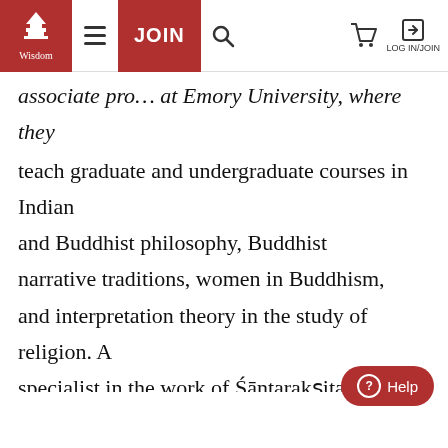Wisdom Publications navigation bar with logo, hamburger menu, JOIN button, search, cart, and LOG IN/JOIN
associate pro… at Emory University, where they teach graduate and undergraduate courses in Indian and Buddhist philosophy, Buddhist narrative traditions, women in Buddhism, and interpretation theory in the study of religion. A specialist in the work of Śāntarakṣita and Kamalaśīla, they also write and translate more broadly on topics in narrative, epistemology, and ethics. Their current book project is a philosophical exploration… transactional and camouflagic nature of truth,